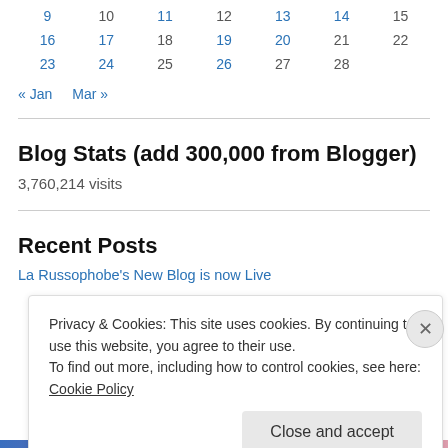| 9 | 10 | 11 | 12 | 13 | 14 | 15 |
| 16 | 17 | 18 | 19 | 20 | 21 | 22 |
| 23 | 24 | 25 | 26 | 27 | 28 |  |
« Jan   Mar »
Blog Stats (add 300,000 from Blogger)
3,760,214 visits
Recent Posts
La Russophobe's New Blog is now Live
Privacy & Cookies: This site uses cookies. By continuing to use this website, you agree to their use.
To find out more, including how to control cookies, see here: Cookie Policy
Close and accept